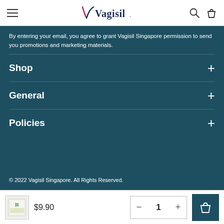[Figure (logo): Vagisil logo with checkmark and search/cart icons in top navigation bar]
By entering your email, you agree to grant Vagisil Singapore permission to send you promotions and marketing materials.
Shop
General
Policies
© 2022 Vagisil Singapore. All Rights Reserved.
$9.90   1